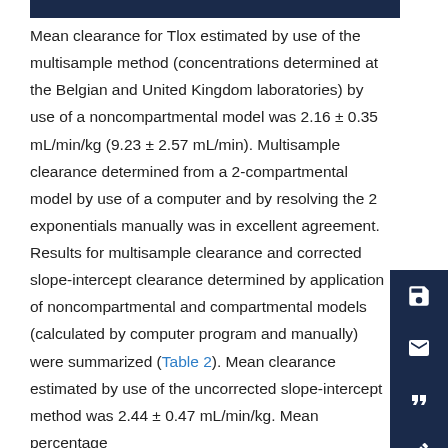Mean clearance for Tlox estimated by use of the multisample method (concentrations determined at the Belgian and United Kingdom laboratories) by use of a noncompartmental model was 2.16 ± 0.35 mL/min/kg (9.23 ± 2.57 mL/min). Multisample clearance determined from a 2-compartmental model by use of a computer and by resolving the 2 exponentials manually was in excellent agreement. Results for multisample clearance and corrected slope-intercept clearance determined by application of noncompartmental and compartmental models (calculated by computer program and manually) were summarized (Table 2). Mean clearance estimated by use of the uncorrected slope-intercept method was 2.44 ± 0.47 mL/min/kg. Mean percentage